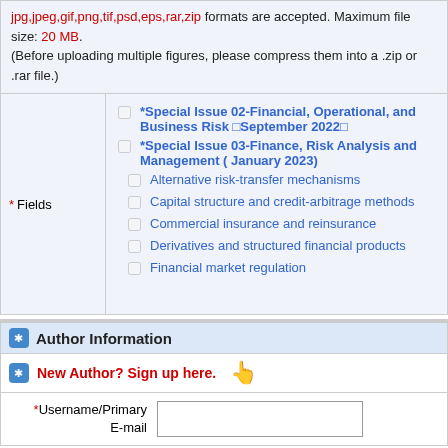jpg,jpeg,gif,png,tif,psd,eps,rar,zip formats are accepted. Maximum file size: 20 MB. (Before uploading multiple figures, please compress them into a .zip or .rar file.)
*Special Issue 02-Financial, Operational, and Business Risk [September 2022]
*Special Issue 03-Finance, Risk Analysis and Management ( January 2023)
Alternative risk-transfer mechanisms
Capital structure and credit-arbitrage methods
Commercial insurance and reinsurance
Derivatives and structured financial products
Financial market regulation
Author Information
New Author? Sign up here.
*Username/Primary E-mail